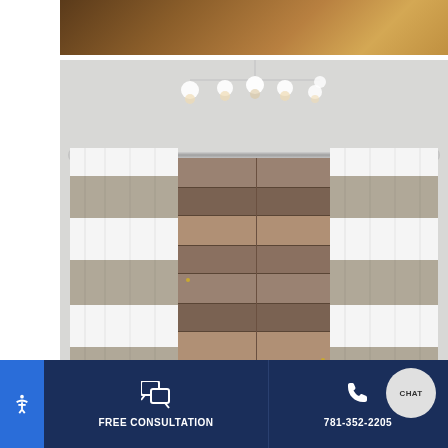[Figure (photo): Top partial view of a wooden ceiling or wall with warm brown tones]
[Figure (photo): Interior room photo showing horizontal-striped gray and white curtains hanging on a chrome rod framing a rustic barn wood door. A crystal chandelier is visible at the top of the image. The curtains have alternating wide white and gray bands.]
FREE CONSULTATION
781-352-2205